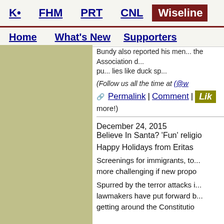K• | FHM | PRT | CNL | Wiseline | Home | What's New | Supporters
Bundy also reported his men... the Association d...pu... lies like duck sp...
(Follow us all the time at (@w...
🔗 Permalink | Comment | Like ... more!)
December 24, 2015
Believe In Santa? 'Fun' religio...
Happy Holidays from Eritas
Screenings for immigrants, to... more challenging if new propo...
Spurred by the terror attacks i... lawmakers have put forward b... getting around the Constitutio...